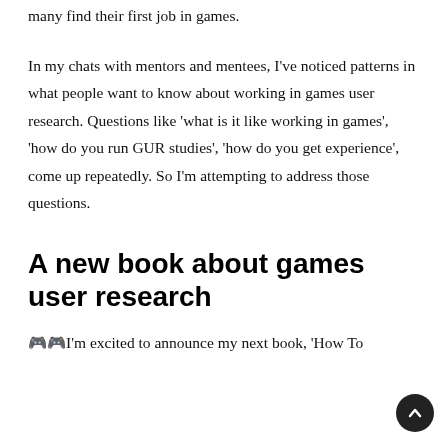many find their first job in games.
In my chats with mentors and mentees, I've noticed patterns in what people want to know about working in games user research. Questions like 'what is it like working in games', 'how do you run GUR studies', 'how do you get experience', come up repeatedly. So I'm attempting to address those questions.
A new book about games user research
🎮🎮I'm excited to announce my next book, 'How To